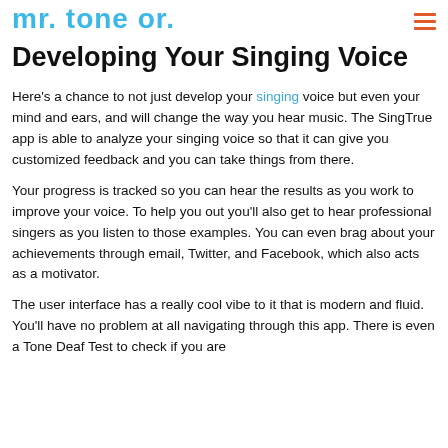[logo] mr. tone or similar branding
Developing Your Singing Voice
Here's a chance to not just develop your singing voice but even your mind and ears, and will change the way you hear music. The SingTrue app is able to analyze your singing voice so that it can give you customized feedback and you can take things from there.
Your progress is tracked so you can hear the results as you work to improve your voice. To help you out you'll also get to hear professional singers as you listen to those examples. You can even brag about your achievements through email, Twitter, and Facebook, which also acts as a motivator.
The user interface has a really cool vibe to it that is modern and fluid. You'll have no problem at all navigating through this app. There is even a Tone Deaf Test to check if you are